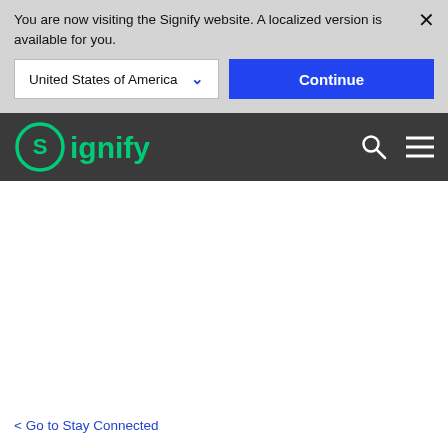You are now visiting the Signify website. A localized version is available for you.
United States of America
Continue
[Figure (logo): Signify logo in green on dark grey navigation bar with search and hamburger menu icons]
< Go to Stay Connected